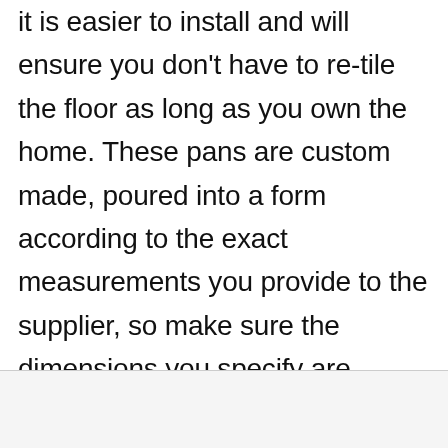it is easier to install and will ensure you don't have to re-tile the floor as long as you own the home. These pans are custom made, poured into a form according to the exact measurements you provide to the supplier, so make sure the dimensions you specify are correct for your shower framing. The molded piece of composite also features a pre-sloped surface to send water straight to the drain.